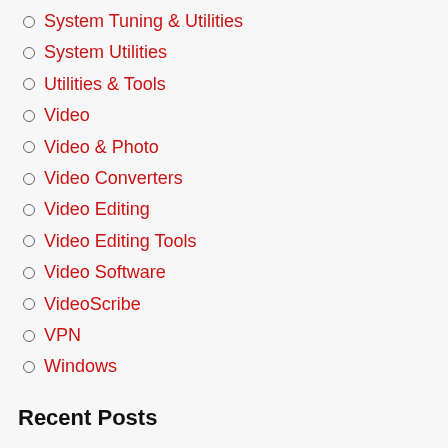System Tuning & Utilities
System Utilities
Utilities & Tools
Video
Video & Photo
Video Converters
Video Editing
Video Editing Tools
Video Software
VideoScribe
VPN
Windows
Recent Posts
Adobe Premiere Pro 2022 Crack 22.4.0.57 FREE